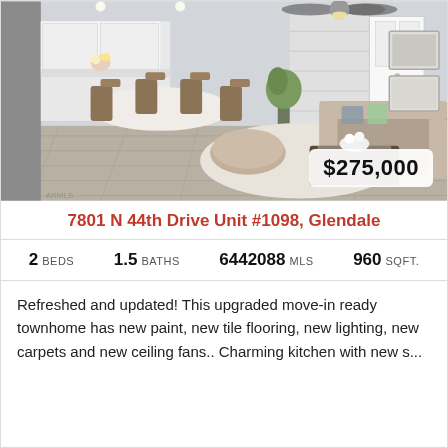[Figure (photo): Interior photo of a modern open-plan living and dining area with hardwood floors, a sectional sofa, a round ottoman, and a dining table with chairs. A ceiling fan is visible. The room has light gray walls and contemporary decor.]
7801 N 44th Drive Unit #1098, Glendale
2 BEDS   1.5 BATHS   6442088 MLS   960 SQFT.
Refreshed and updated! This upgraded move-in ready townhome has new paint, new tile flooring, new lighting, new carpets and new ceiling fans.. Charming kitchen with new s...